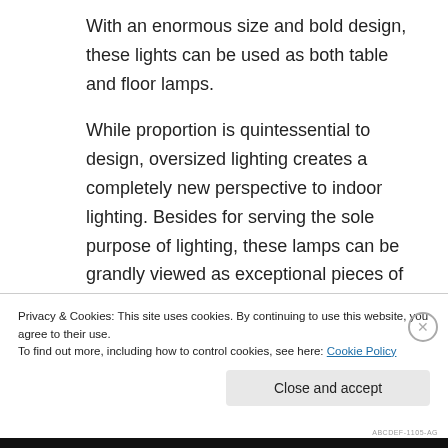With an enormous size and bold design, these lights can be used as both table and floor lamps.
While proportion is quintessential to design, oversized lighting creates a completely new perspective to indoor lighting. Besides for serving the sole purpose of lighting, these lamps can be grandly viewed as exceptional pieces of an art installation. So irrespective of being turned on or off
Privacy & Cookies: This site uses cookies. By continuing to use this website, you agree to their use.
To find out more, including how to control cookies, see here: Cookie Policy